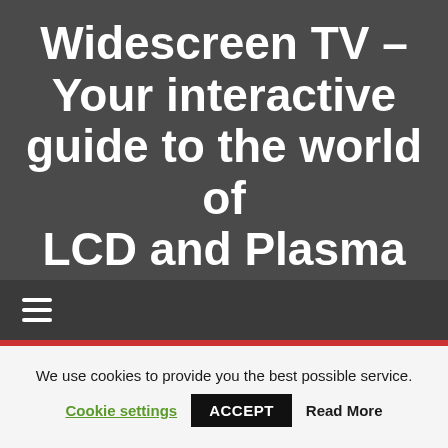Widescreen TV – Your interactive guide to the world of LCD and Plasma Screens
≡
We use cookies to provide you the best possible service.
Cookie settings  ACCEPT  Read More